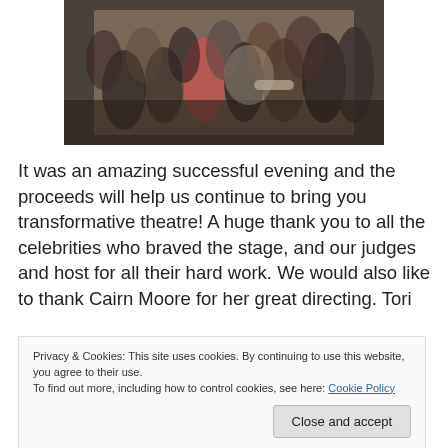[Figure (photo): Group photo of approximately 20 people posing together indoors]
It was an amazing successful evening and the proceeds will help us continue to bring you transformative theatre! A huge thank you to all the celebrities who braved the stage, and our judges and host for all their hard work. We would also like to thank Cairn Moore for her great directing. Tori
Privacy & Cookies: This site uses cookies. By continuing to use this website, you agree to their use.
To find out more, including how to control cookies, see here: Cookie Policy
Close and accept